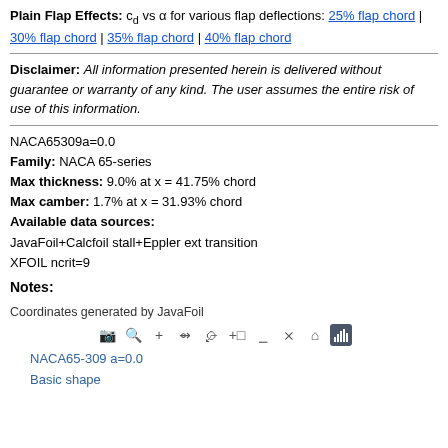Plain Flap Effects: c_d vs α for various flap deflections: 25% flap chord | 30% flap chord | 35% flap chord | 40% flap chord
Disclaimer: All information presented herein is delivered without guarantee or warranty of any kind. The user assumes the entire risk of use of this information.
NACA65309a=0.0
Family: NACA 65-series
Max thickness: 9.0% at x = 41.75% chord
Max camber: 1.7% at x = 31.93% chord
Available data sources:
JavaFoil+Calcfoil stall+Eppler ext transition
XFOIL ncrit=9
Notes:
Coordinates generated by JavaFoil
[Figure (other): Toolbar with icons: camera, zoom, plus, marquee, lasso, plus-box, minus-box, resize, home, bar-chart buttons]
NACA65-309 a=0.0
Basic shape